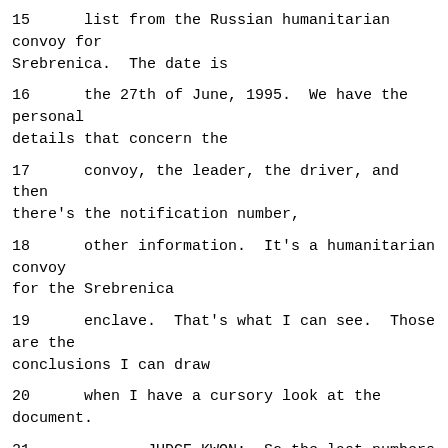15      list from the Russian humanitarian convoy for Srebrenica.  The date is
16      the 27th of June, 1995.  We have the personal details that concern the
17      convoy, the leader, the driver, and then there's the notification number,
18      other information.  It's a humanitarian convoy for the Srebrenica
19      enclave.  That's what I can see.  Those are the conclusions I can draw
20      when I have a cursory look at the document.
21             JUDGE KWON:  So the last numbers are notification numbers.  Did